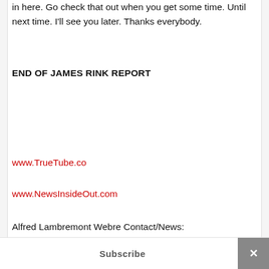in here. Go check that out when you get some time. Until next time. I'll see you later. Thanks everybody.
END OF JAMES RINK REPORT
www.TrueTube.co
www.NewsInsideOut.com
Alfred Lambremont Webre Contact/News:
Subscribe ×